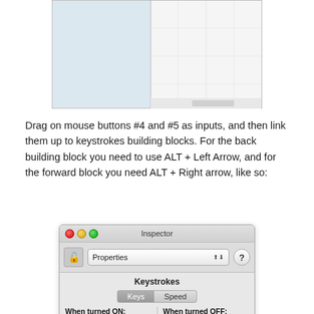[Figure (screenshot): Partial screenshot of a software interface showing a split pane with light blue left panel and white/grid right panel]
Drag on mouse buttons #4 and #5 as inputs, and then link them up to keystrokes building blocks. For the back building block you need to use ALT + Left Arrow, and for the forward block you need ALT + Right arrow, like so:
[Figure (screenshot): Inspector window showing Keystrokes panel with Keys and Speed tabs. Under 'When turned ON' column: left option and left arrow key items. 'When turned OFF' column is empty.]